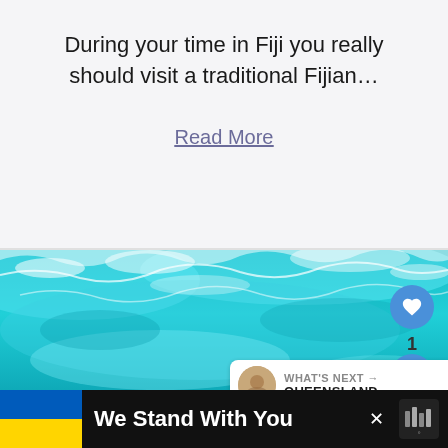During your time in Fiji you really should visit a traditional Fijian…
Read More
[Figure (photo): Aerial view of turquoise tropical ocean with shallow reef and coral visible through clear water]
WHAT'S NEXT → QUEENSLAND
We Stand With You